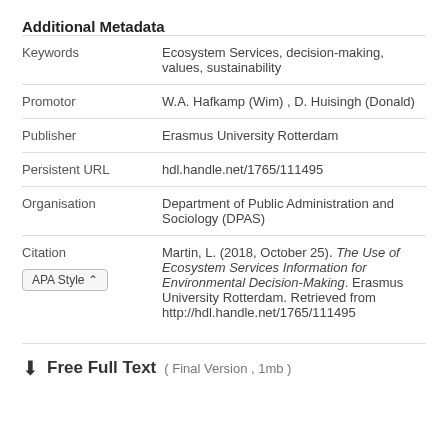Additional Metadata
|  |  |
| --- | --- |
| Keywords | Ecosystem Services, decision-making, values, sustainability |
| Promotor | W.A. Hafkamp (Wim) , D. Huisingh (Donald) |
| Publisher | Erasmus University Rotterdam |
| Persistent URL | hdl.handle.net/1765/111495 |
| Organisation | Department of Public Administration and Sociology (DPAS) |
| Citation / APA Style | Martin, L. (2018, October 25). The Use of Ecosystem Services Information for Environmental Decision-Making. Erasmus University Rotterdam. Retrieved from http://hdl.handle.net/1765/111495 |
Free Full Text ( Final Version , 1mb )